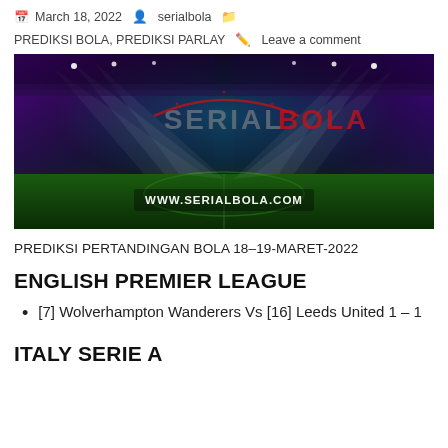March 18, 2022  serialbola  PREDIKSI BOLA, PREDIKSI PARLAY  Leave a comment
[Figure (photo): SerialBola banner image showing a football stadium at night with spotlights, purple/teal lighting, and text 'SERIALBOLA' and 'WWW.SERIALBOLA.COM' overlaid]
PREDIKSI PERTANDINGAN BOLA 18–19-MARET-2022
ENGLISH PREMIER LEAGUE
[7] Wolverhampton Wanderers Vs [16] Leeds United 1 – 1
ITALY SERIE A